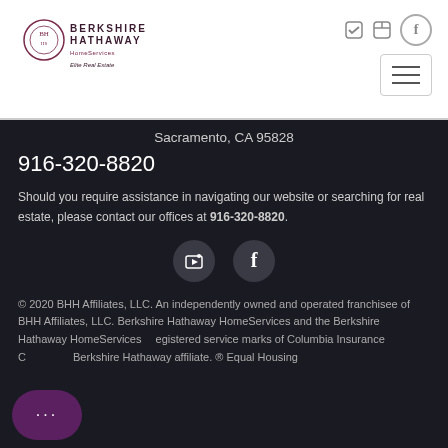[Figure (logo): Berkshire Hathaway HomeServices Elite Real Estate logo with circular emblem]
Sacramento, CA 95828
916-320-8820
Should you require assistance in navigating our website or searching for real estate, please contact our offices at 916-320-8820.
[Figure (other): YouTube and Facebook social media icon circles]
© 2020 BHH Affiliates, LLC. An independently owned and operated franchisee of BHH Affiliates, LLC. Berkshire Hathaway HomeServices and the Berkshire Hathaway HomeServices registered service marks of Columbia Insurance Company, a Berkshire Hathaway affiliate. ® Equal Housing Opportunity.